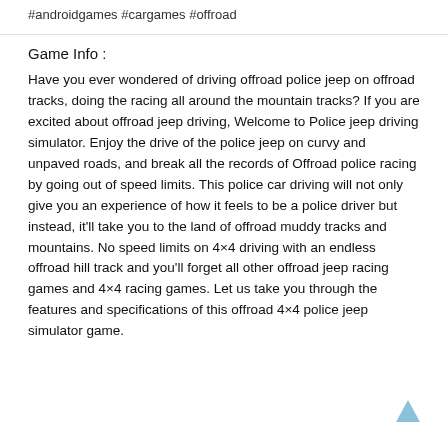#androidgames #cargames #offroad
Game Info :
Have you ever wondered of driving offroad police jeep on offroad tracks, doing the racing all around the mountain tracks? If you are excited about offroad jeep driving, Welcome to Police jeep driving simulator. Enjoy the drive of the police jeep on curvy and unpaved roads, and break all the records of Offroad police racing by going out of speed limits. This police car driving will not only give you an experience of how it feels to be a police driver but instead, it'll take you to the land of offroad muddy tracks and mountains. No speed limits on 4×4 driving with an endless offroad hill track and you'll forget all other offroad jeep racing games and 4×4 racing games. Let us take you through the features and specifications of this offroad 4×4 police jeep simulator game.